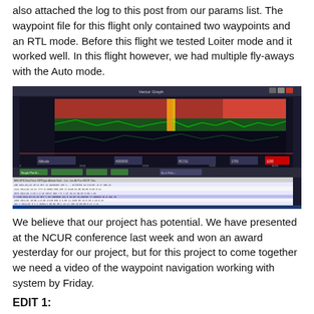also attached the log to this post from our params list. The waypoint file for this flight only contained two waypoints and an RTL mode. Before this flight we tested Loiter mode and it worked well. In this flight however, we had multiple fly-aways with the Auto mode.
[Figure (screenshot): Screenshot of a UAV flight log analyzer software (log browser) showing a graph with colored waveforms (red, green, yellow bands) at the top representing flight telemetry data over time, and a table of flight log entries below with columns for various flight parameters such as GPS, altitude, speed, and timestamps.]
We believe that our project has potential. We have presented at the NCUR conference last week and won an award yesterday for our project, but for this project to come together we need a video of the waypoint navigation working with system by Friday.
EDIT 1: